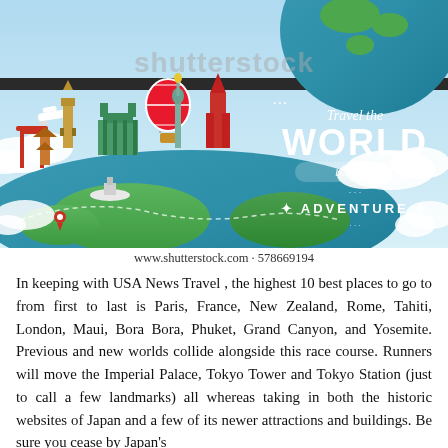[Figure (illustration): Travel the World infographic illustration showing a globe with world landmarks (Big Ben, Statue of Liberty, Kremlin, Tokyo Tower, Torii gate, etc.), a hot air balloon, airplane, clouds, and text 'Travel the WORLD best time ADVENTURE' with Shutterstock watermark. URL: www.shutterstock.com · 578669194]
www.shutterstock.com · 578669194
In keeping with USA News Travel , the highest 10 best places to go to from first to last is Paris, France, New Zealand, Rome, Tahiti, London, Maui, Bora Bora, Phuket, Grand Canyon, and Yosemite. Previous and new worlds collide alongside this race course. Runners will move the Imperial Palace, Tokyo Tower and Tokyo Station (just to call a few landmarks) all whereas taking in both the historic websites of Japan and a few of its newer attractions and buildings. Be sure you cease by Japan's